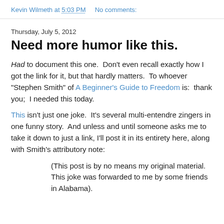Kevin Wilmeth at 5:03 PM    No comments:
Thursday, July 5, 2012
Need more humor like this.
Had to document this one.  Don't even recall exactly how I got the link for it, but that hardly matters.  To whoever "Stephen Smith" of A Beginner's Guide to Freedom is:  thank you;  I needed this today.
This isn't just one joke.  It's several multi-entendre zingers in one funny story.  And unless and until someone asks me to take it down to just a link, I'll post it in its entirety here, along with Smith's attributory note:
(This post is by no means my original material.  This joke was forwarded to me by some friends in Alabama).
When...